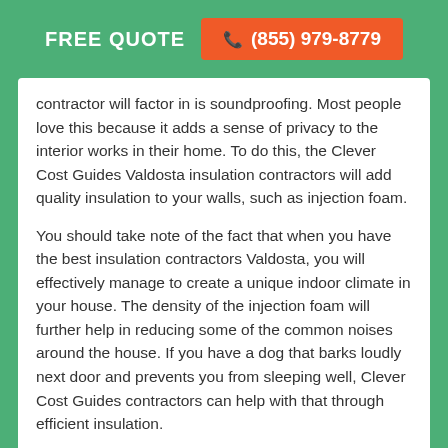FREE QUOTE  ☏ (855) 979-8779
contractor will factor in is soundproofing. Most people love this because it adds a sense of privacy to the interior works in their home. To do this, the Clever Cost Guides Valdosta insulation contractors will add quality insulation to your walls, such as injection foam.
You should take note of the fact that when you have the best insulation contractors Valdosta, you will effectively manage to create a unique indoor climate in your house. The density of the injection foam will further help in reducing some of the common noises around the house. If you have a dog that barks loudly next door and prevents you from sleeping well, Clever Cost Guides contractors can help with that through efficient insulation.